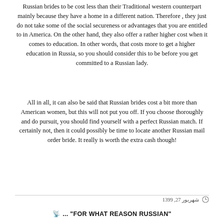Russian brides to be cost less than their Traditional western counterpart mainly because they have a home in a different nation. Therefore , they just do not take some of the social secureness or advantages that you are entitled to in America. On the other hand, they also offer a rather higher cost when it comes to education. In other words, that costs more to get a higher education in Russia, so you should consider this to be before you get committed to a Russian lady.
All in all, it can also be said that Russian brides cost a bit more than American women, but this will not put you off. If you choose thoroughly and do pursuit, you should find yourself with a perfect Russian match. If certainly not, then it could possibly be time to locate another Russian mail order bride. It really is worth the extra cash though!
شهریور 27, 1399
"FOR WHAT REASON RUSSIAN"...